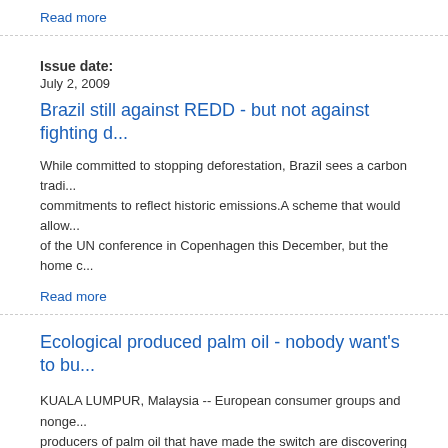Read more
Issue date:
July 2, 2009
Brazil still against REDD - but not against fighting d...
While committed to stopping deforestation, Brazil sees a carbon tradi... commitments to reflect historic emissions.A scheme that would allow... of the UN conference in Copenhagen this December, but the home c...
Read more
Ecological produced palm oil - nobody want's to bu...
KUALA LUMPUR, Malaysia -- European consumer groups and nonge... producers of palm oil that have made the switch are discovering that...
Read more
UK: Woodland creation part of national Low C...
Markus Sommerauer - Fri, 17/07/2009 - 07:35
July 15, 2009: The UK has released its Low Carbon Transition Plan... on 1990 levels by 2020.